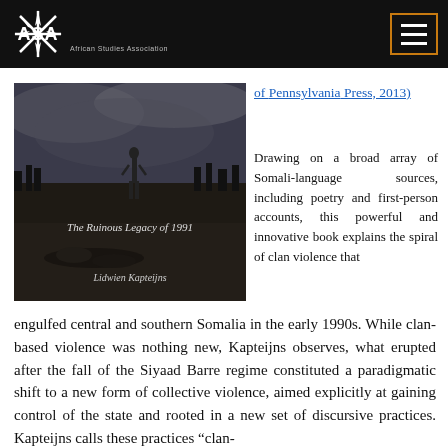ASA African Studies Association
[Figure (photo): Book cover of 'The Ruinous Legacy of 1991' by Lidwien Kapteijns — black and white photograph showing a figure standing in a desert landscape with a body in the foreground]
of Pennsylvania Press, 2013)
Drawing on a broad array of Somali-language sources, including poetry and first-person accounts, this powerful and innovative book explains the spiral of clan violence that engulfed central and southern Somalia in the early 1990s. While clan-based violence was nothing new, Kapteijns observes, what erupted after the fall of the Siyaad Barre regime constituted a paradigmatic shift to a new form of collective violence, aimed explicitly at gaining control of the state and rooted in a new set of discursive practices. Kapteijns calls these practices “clan-